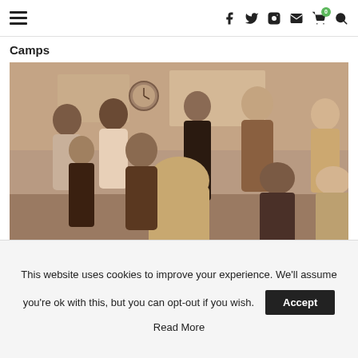≡  f  🐦  📷  ✉  🛒0  🔍
Camps
[Figure (photo): Sepia-toned group photo of adults standing and sitting in a circle in an indoor room, appearing to be in a workshop or camp setting.]
This website uses cookies to improve your experience. We'll assume you're ok with this, but you can opt-out if you wish.
Accept
Read More